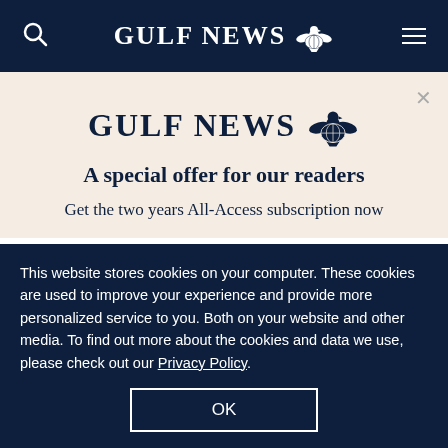GULF NEWS
She pointed, however, that there is no one definition of a virtual currency as that
[Figure (logo): Gulf News logo with eagle emblem on beige promo modal background]
A special offer for our readers
Get the two years All-Access subscription now
This website stores cookies on your computer. These cookies are used to improve your experience and provide more personalized service to you. Both on your website and other media. To find out more about the cookies and data we use, please check out our Privacy Policy.
OK